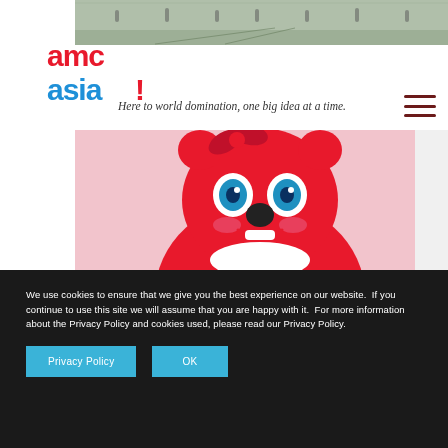[Figure (photo): Top strip photo showing a crowd/hall scene]
[Figure (logo): AMC Asia logo in red and blue text]
Here to world domination, one big idea at a time.
[Figure (photo): Large photo of a person posing in front of a giant red Jollibee mascot statue]
We use cookies to ensure that we give you the best experience on our website.  If you continue to use this site we will assume that you are happy with it.  For more information about the Privacy Policy and cookies used, please read our Privacy Policy.
Privacy Policy
OK